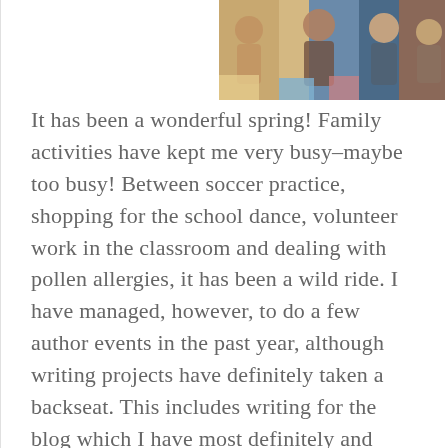[Figure (photo): Partial view of a group photo showing people at what appears to be an outdoor or event setting, cropped at the top of the page]
It has been a wonderful spring! Family activities have kept me very busy–maybe too busy! Between soccer practice, shopping for the school dance, volunteer work in the classroom and dealing with pollen allergies, it has been a wild ride. I have managed, however, to do a few author events in the past year, although writing projects have definitely taken a backseat. This includes writing for the blog which I have most definitely and sadly neglected. I plan to hold